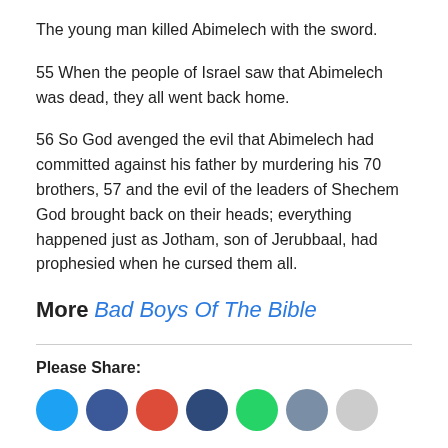The young man killed Abimelech with the sword.
55 When the people of Israel saw that Abimelech was dead, they all went back home.
56 So God avenged the evil that Abimelech had committed against his father by murdering his 70 brothers, 57 and the evil of the leaders of Shechem God brought back on their heads; everything happened just as Jotham, son of Jerubbaal, had prophesied when he cursed them all.
More Bad Boys Of The Bible
Please Share: